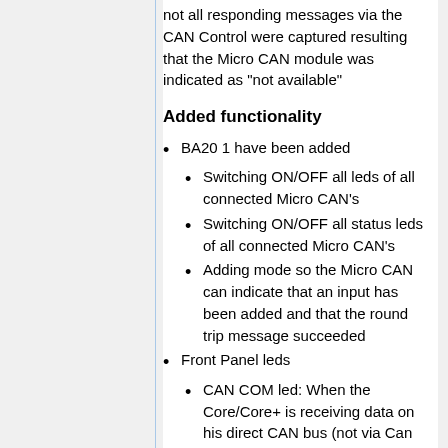not all responding messages via the CAN Control were captured resulting that the Micro CAN module was indicated as "not available"
Added functionality
BA20 1 have been added
Switching ON/OFF all leds of all connected Micro CAN's
Switching ON/OFF all status leds of all connected Micro CAN's
Adding mode so the Micro CAN can indicate that an input has been added and that the round trip message succeeded
Front Panel leds
CAN COM led: When the Core/Core+ is receiving data on his direct CAN bus (not via Can Control), the CAN COM led will